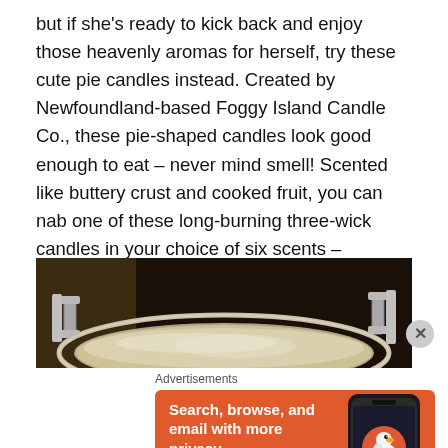but if she's ready to kick back and enjoy those heavenly aromas for herself, try these cute pie candles instead. Created by Newfoundland-based Foggy Island Candle Co., these pie-shaped candles look good enough to eat – never mind smell! Scented like buttery crust and cooked fruit, you can nab one of these long-burning three-wick candles in your choice of six scents – including standbys like Apple and Blueberry.
[Figure (photo): Close-up photo of shiny stainless steel cookware (pan/pot) with handles against a dark background]
Advertisements
[Figure (screenshot): DuckDuckGo advertisement banner with orange background: 'Search, browse, and email with more privacy. All in One Free App' with a phone showing the DuckDuckGo app]